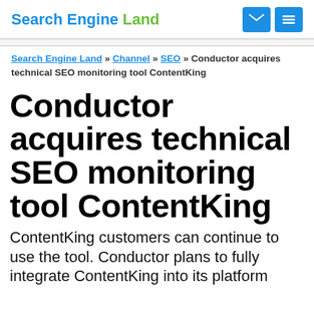Search Engine Land
Search Engine Land » Channel » SEO » Conductor acquires technical SEO monitoring tool ContentKing
Conductor acquires technical SEO monitoring tool ContentKing
ContentKing customers can continue to use the tool. Conductor plans to fully integrate ContentKing into its platform